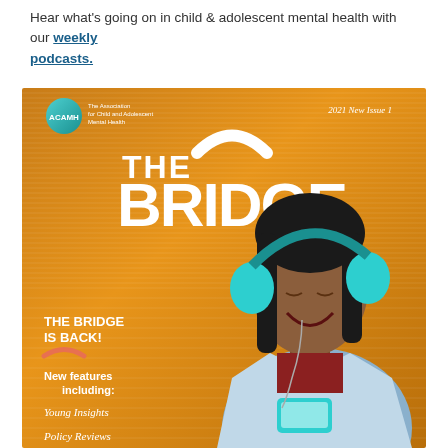Hear what's going on in child & adolescent mental health with our weekly podcasts.
[Figure (illustration): Cover of 'The Bridge' magazine (2021 New Issue 1) published by ACAMH – The Association for Child and Adolescent Mental Health. Orange/gold striped background with a young woman wearing teal headphones and holding a phone. Text on cover: 'THE BRIDGE IS BACK! New features including: Young Insights, Policy Reviews'.]